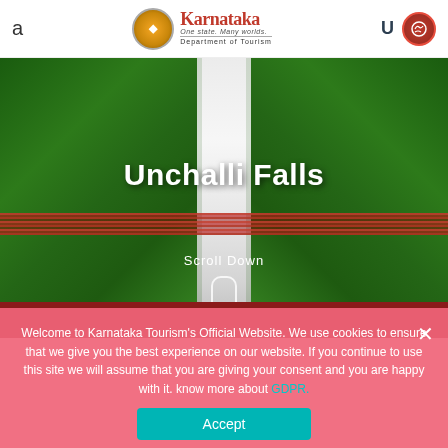a | Karnataka One state. Many worlds. Department of Tourism | U
[Figure (photo): Aerial view of Unchalli Falls surrounded by dense green forest, tall waterfall cascading down rocky cliff]
Unchalli Falls
Scroll Down
Home / Unchalli Falls
Welcome to Karnataka Tourism's Official Website. We use cookies to ensure that we give you the best experience on our website. If you continue to use this site we will assume that you are giving your consent and you are happy with it. know more about GDPR.
Accept